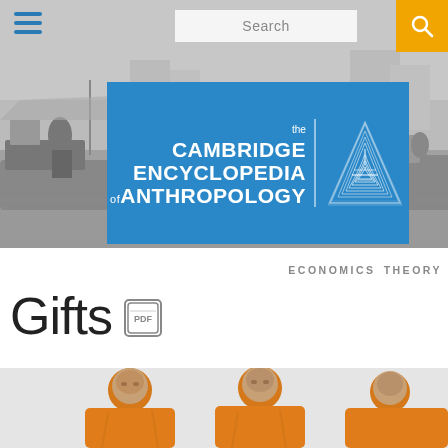[Figure (photo): Black and white photo of a floating market with boats and vendors on water, misty/foggy atmosphere]
Search
[Figure (logo): The Cambridge Encyclopedia of Anthropology logo — blue rectangle with white text and stylized letter A made of fingerprint lines]
ECONOMICS  THEORY
Gifts
[Figure (photo): Three young Buddhist monks in orange robes, walking, heads shaved, partial view]